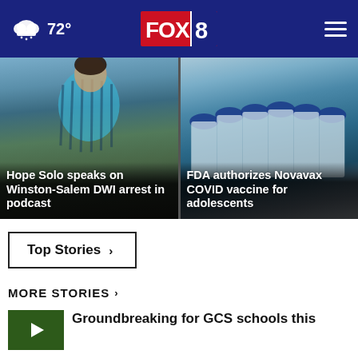FOX 8 | 72° weather
[Figure (photo): Hope Solo soccer player in blue striped jersey with headline overlay: Hope Solo speaks on Winston-Salem DWI arrest in podcast]
[Figure (photo): Medical vials/vaccine bottles with headline overlay: FDA authorizes Novavax COVID vaccine for adolescents]
Top Stories ›
MORE STORIES ›
Groundbreaking for GCS schools this